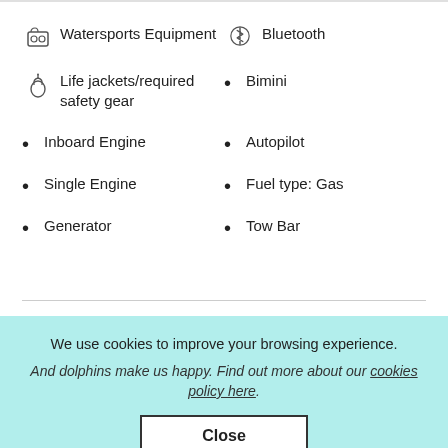Watersports Equipment
Bluetooth
Life jackets/required safety gear
Bimini
Inboard Engine
Autopilot
Single Engine
Fuel type: Gas
Generator
Tow Bar
We use cookies to improve your browsing experience.
And dolphins make us happy. Find out more about our cookies policy here.
Close